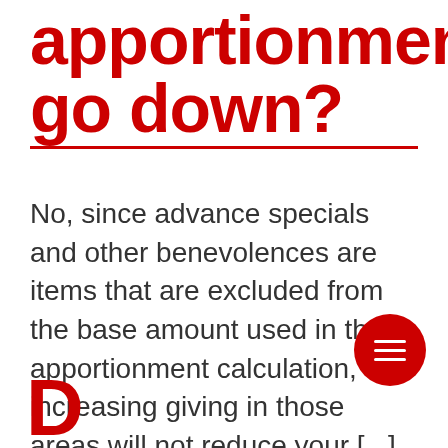apportionments go down?
No, since advance specials and other benevolences are items that are excluded from the base amount used in the apportionment calculation, increasing giving in those areas will not reduce your [...]